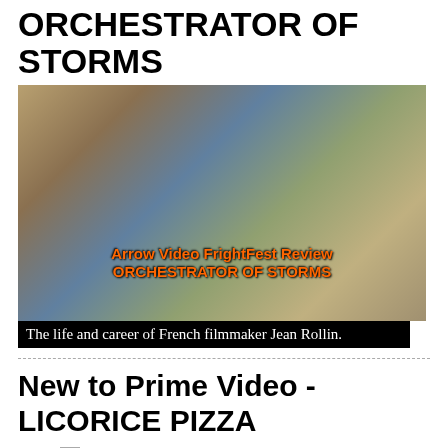ORCHESTRATOR OF STORMS
[Figure (photo): Film set photo with crew and filmmaker, overlaid with orange bold text reading 'Arrow Video FrightFest Review' and 'ORCHESTRATOR OF STORMS']
The life and career of French filmmaker Jean Rollin.
New to Prime Video - LICORICE PIZZA
[Figure (photo): Broken image placeholder with alt text 'licorice pizza review']
A directionless twentysomething woman falls